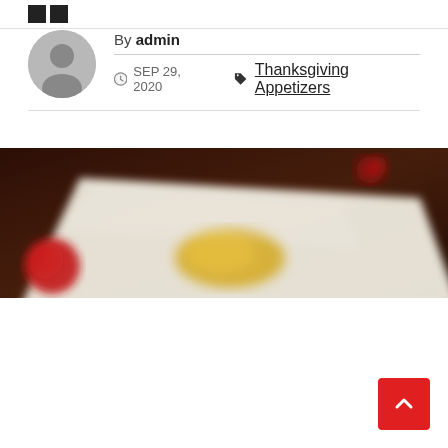■ ■
By admin
SEP 29, 2020  Thanksgiving Appetizers
[Figure (photo): A blurred close-up photo of food on a white cutting board or tray, with tomatoes and what appears to be yellow food items (possibly cheese or corn), on a dark wooden surface background.]